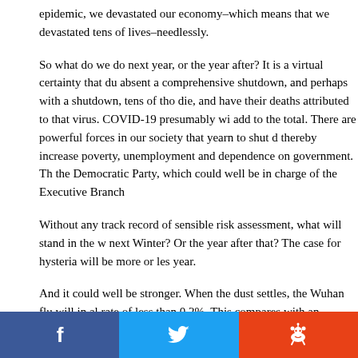epidemic, we devastated our economy–which means that we devastated tens of lives–needlessly.
So what do we do next year, or the year after? It is a virtual certainty that du absent a comprehensive shutdown, and perhaps with a shutdown, tens of tho die, and have their deaths attributed to that virus. COVID-19 presumably wi add to the total. There are powerful forces in our society that yearn to shut d thereby increase poverty, unemployment and dependence on government. Th the Democratic Party, which could well be in charge of the Executive Branch
Without any track record of sensible risk assessment, what will stand in the w next Winter? Or the year after that? The case for hysteria will be more or les year.
And it could well be stronger. When the dust settles, the Wuhan flu will in al rate of less than 0.2%. This compares with an average seasonal flu rate of ar world has gotten off lucky: the virus that the Chinese Communist Party unle a mild one. The next pandemic could easily involve a virus that is ten times a 100 times as lethal. What will we do then? Our current reaction to COVID-1